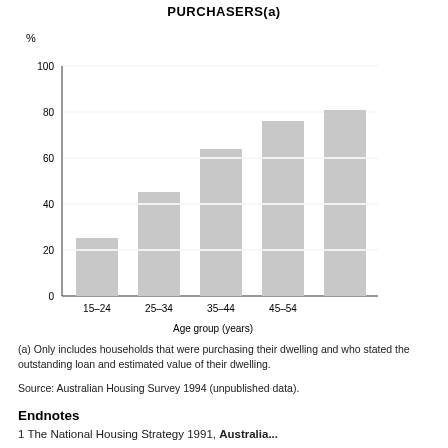PURCHASERS(a)
[Figure (stacked-bar-chart): PURCHASERS(a)]
(a) Only includes households that were purchasing their dwelling and who stated the outstanding loan and estimated value of their dwelling.
Source: Australian Housing Survey 1994 (unpublished data).
Endnotes
1 The National Housing Strategy 1991, Australian...